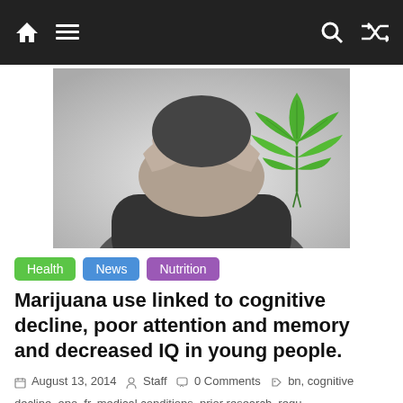Navigation bar with home, menu, search, and shuffle icons
[Figure (photo): Black and white photo of a person holding their head in their hands with a green cannabis/marijuana leaf overlaid in the top right corner]
Health   News   Nutrition
Marijuana use linked to cognitive decline, poor attention and memory and decreased IQ in young people.
August 13, 2014   Staff   0 Comments   bn, cognitive decline, epo, fr, medical conditions, prior research, regu, researcher